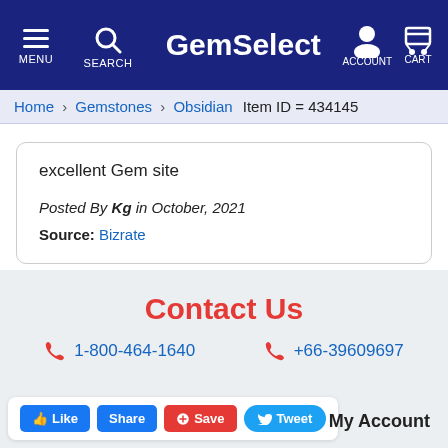GemSelect — MENU SEARCH ACCOUNT CART
Home / Gemstones / Obsidian   Item ID = 434145
excellent Gem site
Posted By Kg in October, 2021
Source: Bizrate
Contact Us
1-800-464-1640   +66-39609697
Like  Share  Save  Tweet   My Account